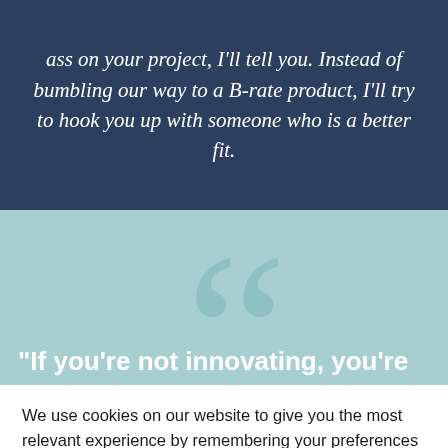ass on your project, I'll tell you. Instead of bumbling our way to a B-rate product, I'll try to hook you up with someone who is a better fit.
[Figure (other): Large decorative opening quotation mark in teal on a light teal background, with the beginning of a quote: "If you’re not innovating, you’re]
We use cookies on our website to give you the most relevant experience by remembering your preferences and repeat visits. By clicking “Accept”, you consent to the use of ALL the cookies.
Cookie settings
ACCEPT